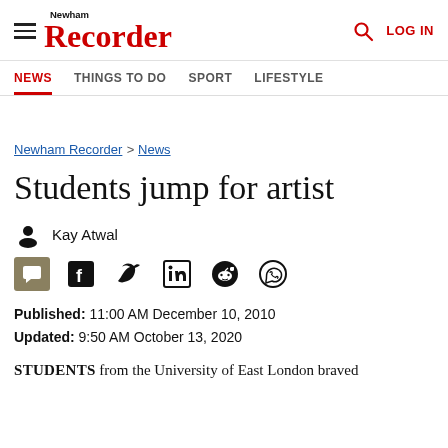Newham Recorder | NEWS | THINGS TO DO | SPORT | LIFESTYLE | LOG IN
Newham Recorder > News
Students jump for artist
Kay Atwal
Published: 11:00 AM December 10, 2010
Updated: 9:50 AM October 13, 2020
STUDENTS from the University of East London braved